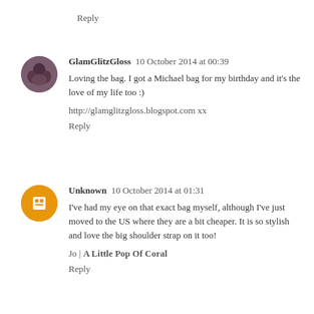Reply
GlamGlitzGloss  10 October 2014 at 00:39
Loving the bag. I got a Michael bag for my birthday and it's the love of my life too :)

http://glamglitzgloss.blogspot.com xx

Reply
Unknown  10 October 2014 at 01:31
I've had my eye on that exact bag myself, although I've just moved to the US where they are a bit cheaper. It is so stylish and love the big shoulder strap on it too!

Jo | A Little Pop Of Coral

Reply